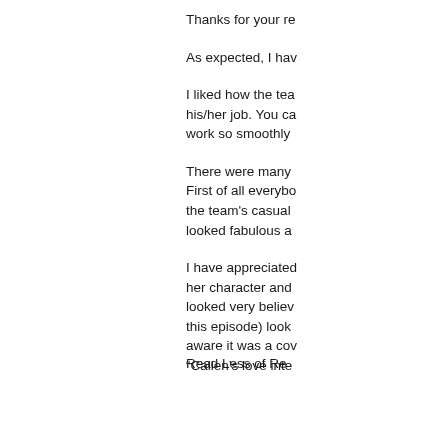Thanks for your re
As expected, I hav
I liked how the tea his/her job. You ca work so smoothly
There were many First of all everybo the team's casual looked fabulous a
I have appreciated her character and looked very believ this episode) look aware it was a cov “Callen’s love inte
Read Less of Re